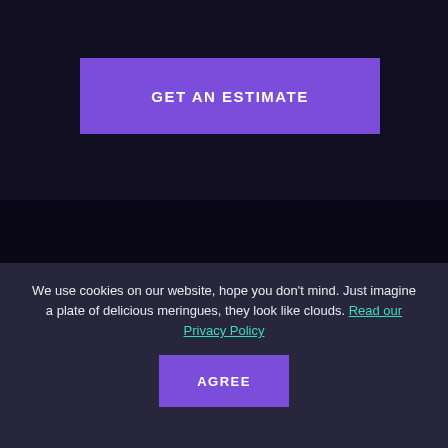GET AN ESTIMATE
[Figure (logo): 10Clouds company logo with '10' in purple and teal 'C' followed by 'LOUDS' in white]
10CLOUDS.SP. Z O. O.
We use cookies on our website, hope you don't mind. Just imagine a plate of delicious meringues, they look like clouds. Read our Privacy Policy
AGREE